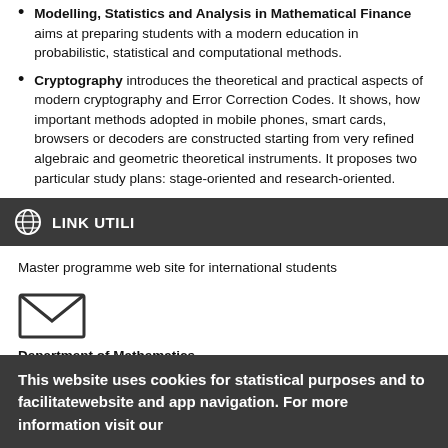Modelling, Statistics and Analysis in Mathematical Finance aims at preparing students with a modern education in probabilistic, statistical and computational methods.
Cryptography introduces the theoretical and practical aspects of modern cryptography and Error Correction Codes. It shows, how important methods adopted in mobile phones, smart cards, browsers or decoders are constructed starting from very refined algebraic and geometric theoretical instruments. It proposes two particular study plans: stage-oriented and research-oriented.
LINK UTILI
Master programme web site for international students
[Figure (illustration): Envelope icon for contact information]
Department of Mathematics
Via Sommarive, 14 - 38123 Trento
This website uses cookies for statistical purposes and to facilitatewebsite and app navigation. For more information visit our